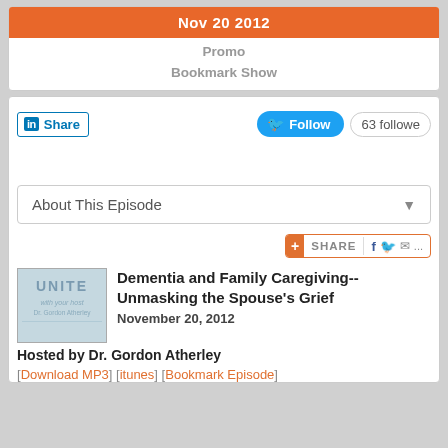Nov 20 2012
Promo
Bookmark Show
[Figure (screenshot): Social sharing buttons: LinkedIn Share button, Twitter Follow button, 63 followers count]
About This Episode
[Figure (screenshot): Share widget with plus icon, SHARE text, Facebook, Twitter, mail icons]
[Figure (logo): Podcast thumbnail image showing UNITED text with host Dr. Gordon Atherley]
Dementia and Family Caregiving--Unmasking the Spouse's Grief
November 20, 2012
Hosted by Dr. Gordon Atherley
[Download MP3] [itunes] [Bookmark Episode]